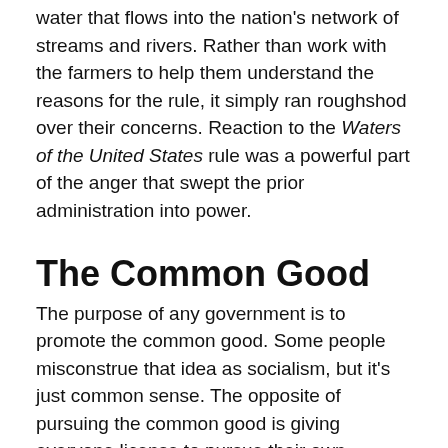water that flows into the nation's network of streams and rivers. Rather than work with the farmers to help them understand the reasons for the rule, it simply ran roughshod over their concerns. Reaction to the Waters of the United States rule was a powerful part of the anger that swept the prior administration into power.
The Common Good
The purpose of any government is to promote the common good. Some people misconstrue that idea as socialism, but it's just common sense. The opposite of pursuing the common good is giving everyone license to pursue their own individual self interest no matter how much that degrades society as a whole. It is the rationale that says corporate polluters should be exempt from paying for the harm they do. It glorifies the right of any person to stroll the streets with two assault rifles, a